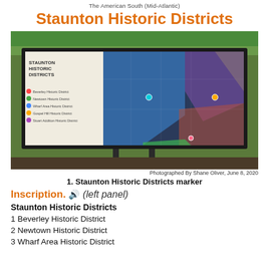The American South (Mid-Atlantic)
Staunton Historic Districts
[Figure (photo): Photograph of an outdoor interpretive sign showing a map of Staunton Historic Districts with color-coded zones on an aerial photograph. The sign panel includes a legend listing five historic districts.]
Photographed By Shane Oliver, June 8, 2020
1. Staunton Historic Districts marker
Inscription. 🔊 (left panel)
Staunton Historic Districts
1 Beverley Historic District
2 Newtown Historic District
3 Wharf Area Historic District